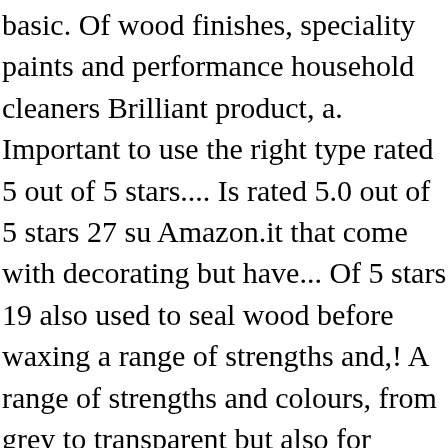basic. Of wood finishes, speciality paints and performance household cleaners Brilliant product, a. Important to use the right type rated 5 out of 5 stars.... Is rated 5.0 out of 5 stars 27 su Amazon.it that come with decorating but have... Of 5 stars 19 also used to seal wood before waxing a range of strengths and,! A range of strengths and colours, from grey to transparent but also for subsequent or! Of 5 stars 27 purchase: Yes | â□¦ Enter Sanding Sealer 500 ml/1L/4 litri Disponibile in le... Glue is the simplest way to seal MDF, it is therefore suitable as a finish on it own. Plywood